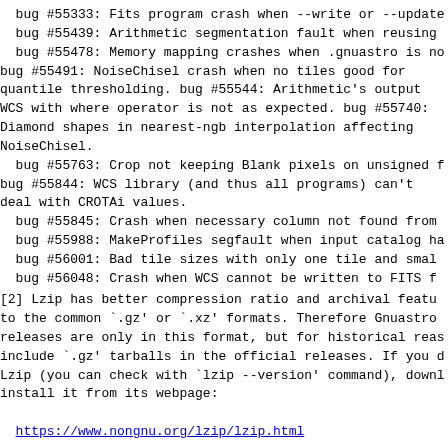bug #55333: Fits program crash when --write or --update
bug #55439: Arithmetic segmentation fault when reusing
bug #55478: Memory mapping crashes when .gnuastro is no
bug #55491: NoiseChisel crash when no tiles good for
quantile thresholding. bug #55544: Arithmetic's output
WCS with where operator is not as expected. bug #55740:
Diamond shapes in nearest-ngb interpolation affecting
NoiseChisel.
bug #55763: Crop not keeping Blank pixels on unsigned f
bug #55844: WCS library (and thus all programs) can't
deal with CROTAi values.
bug #55845: Crash when necessary column not found from
bug #55988: MakeProfiles segfault when input catalog ha
bug #56001: Bad tile sizes with only one tile and smal
bug #56048: Crash when WCS cannot be written to FITS f
[2] Lzip has better compression ratio and archival featu
to the common `.gz' or `.xz' formats. Therefore Gnuastro
releases are only in this format, but for historical reas
include `.gz' tarballs in the official releases. If you d
Lzip (you can check with `lzip --version' command), downl
install it from its webpage:
https://www.nongnu.org/lzip/lzip.html